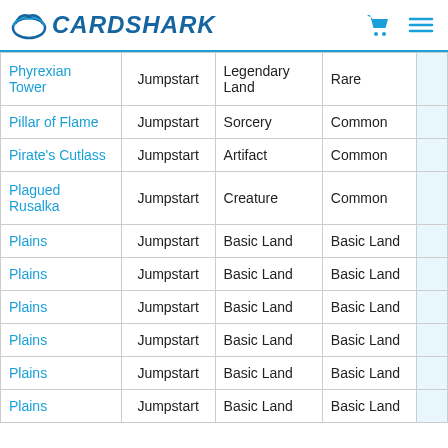CardShark
| Name | Set | Type | Rarity |
| --- | --- | --- | --- |
| Phyrexian Tower | Jumpstart | Legendary Land | Rare |
| Pillar of Flame | Jumpstart | Sorcery | Common |
| Pirate's Cutlass | Jumpstart | Artifact | Common |
| Plagued Rusalka | Jumpstart | Creature | Common |
| Plains | Jumpstart | Basic Land | Basic Land |
| Plains | Jumpstart | Basic Land | Basic Land |
| Plains | Jumpstart | Basic Land | Basic Land |
| Plains | Jumpstart | Basic Land | Basic Land |
| Plains | Jumpstart | Basic Land | Basic Land |
| Plains | Jumpstart | Basic Land | Basic Land |